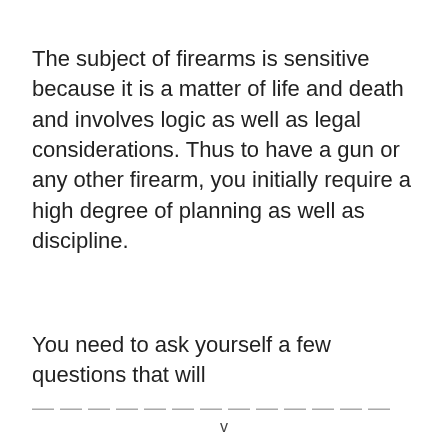The subject of firearms is sensitive because it is a matter of life and death and involves logic as well as legal considerations. Thus to have a gun or any other firearm, you initially require a high degree of planning as well as discipline.
You need to ask yourself a few questions that will help you make the right decision for the...
v